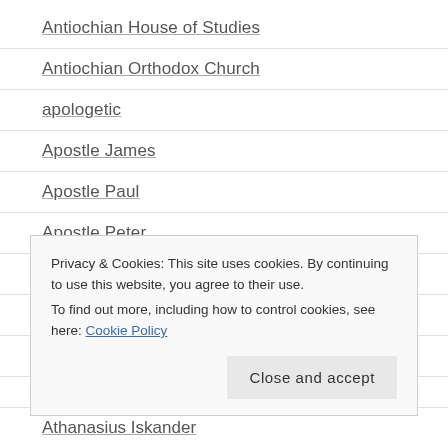Antiochian House of Studies
Antiochian Orthodox Church
apologetic
Apostle James
Apostle Paul
Apostle Peter
Apostles Fast
Archbiship Lazar Puhalo
Archbishop Iakovos
Ascension
Privacy & Cookies: This site uses cookies. By continuing to use this website, you agree to their use.
To find out more, including how to control cookies, see here: Cookie Policy
Athanasius Iskander